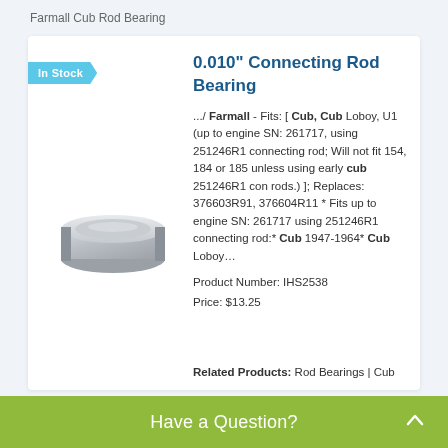Farmall Cub Rod Bearing
In Stock
0.010" Connecting Rod Bearing
[Figure (photo): Photo of a metal connecting rod bearing, cylindrical band shape, silver/gray color]
.../ Farmall - Fits: [ Cub, Cub Loboy, U1 (up to engine SN: 261717, using 251246R1 connecting rod; Will not fit 154, 184 or 185 unless using early cub 251246R1 con rods.) ]; Replaces: 376603R91, 376604R11 * Fits up to engine SN: 261717 using 251246R1 connecting rod:* Cub 1947-1964* Cub Loboy…
Product Number: IHS2538
Price: $13.25
Related Products: Rod Bearings | Cub
Have a Question?